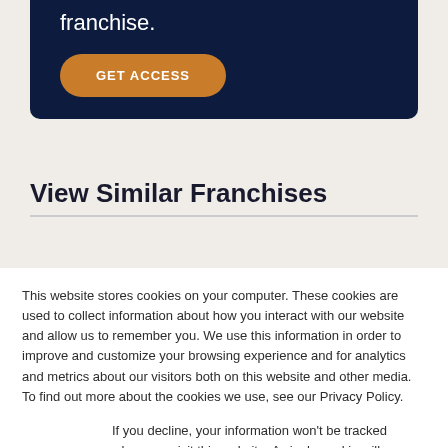franchise.
GET ACCESS
View Similar Franchises
This website stores cookies on your computer. These cookies are used to collect information about how you interact with our website and allow us to remember you. We use this information in order to improve and customize your browsing experience and for analytics and metrics about our visitors both on this website and other media. To find out more about the cookies we use, see our Privacy Policy.
If you decline, your information won't be tracked when you visit this website. A single cookie will be used in your browser to remember your preference not to be tracked.
Accept
Decline